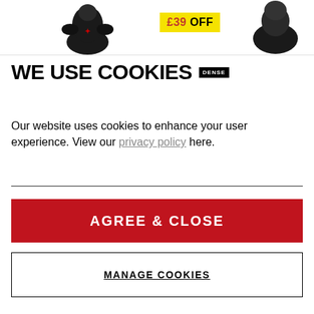[Figure (screenshot): Top banner showing motorcycle gear product images with a yellow discount badge reading £39 OFF]
WE USE COOKIES
Our website uses cookies to enhance your user experience. View our privacy policy here.
AGREE & CLOSE
MANAGE COOKIES